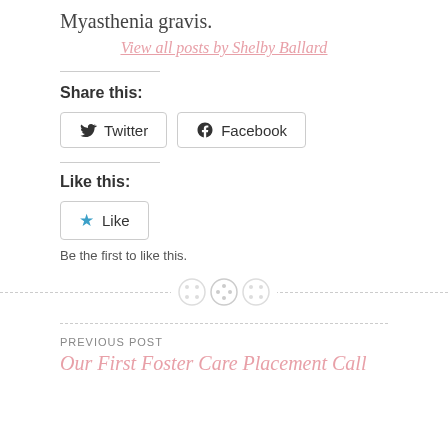Myasthenia gravis.
View all posts by Shelby Ballard
Share this:
Twitter
Facebook
Like this:
Like
Be the first to like this.
PREVIOUS POST
Our First Foster Care Placement Call